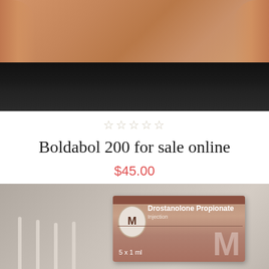[Figure (photo): Torso of a muscular man wearing black shorts, showing abdominal area and arms against white background]
[Figure (other): Five empty star rating icons in a row]
Boldabol 200 for sale online
$45.00
[Figure (photo): Product photo showing a box of Drostanolone Propionate Injection 5 x 1 ml with syringes in background]